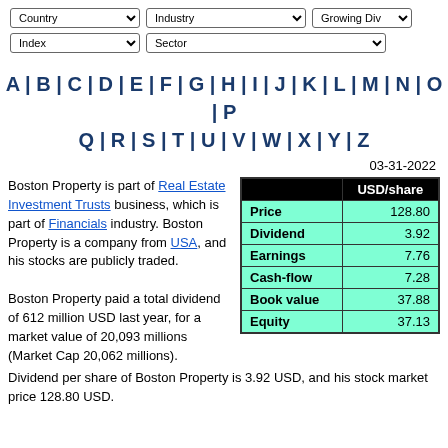Country | Industry | Growing Div | Index | Sector (filter dropdowns)
A | B | C | D | E | F | G | H | I | J | K | L | M | N | O | P | Q | R | S | T | U | V | W | X | Y | Z
03-31-2022
Boston Property is part of Real Estate Investment Trusts business, which is part of Financials industry. Boston Property is a company from USA, and his stocks are publicly traded.
|  | USD/share |
| --- | --- |
| Price | 128.80 |
| Dividend | 3.92 |
| Earnings | 7.76 |
| Cash-flow | 7.28 |
| Book value | 37.88 |
| Equity | 37.13 |
Boston Property paid a total dividend of 612 million USD last year, for a market value of 20,093 millions (Market Cap 20,062 millions). Dividend per share of Boston Property is 3.92 USD, and his stock market price 128.80 USD.